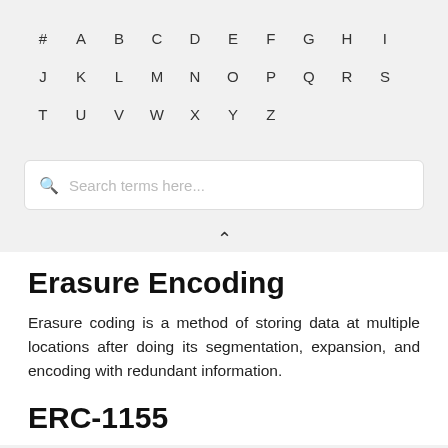# A B C D E F G H I J K L M N O P Q R S T U V W X Y Z
[Figure (other): Search bar with placeholder text 'Search terms here...']
Erasure Encoding
Erasure coding is a method of storing data at multiple locations after doing its segmentation, expansion, and encoding with redundant information.
ERC-1155